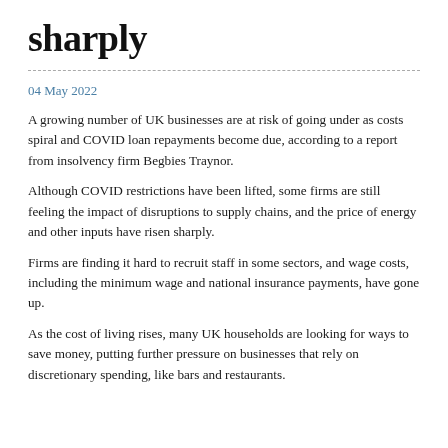sharply
04 May 2022
A growing number of UK businesses are at risk of going under as costs spiral and COVID loan repayments become due, according to a report from insolvency firm Begbies Traynor.
Although COVID restrictions have been lifted, some firms are still feeling the impact of disruptions to supply chains, and the price of energy and other inputs have risen sharply.
Firms are finding it hard to recruit staff in some sectors, and wage costs, including the minimum wage and national insurance payments, have gone up.
As the cost of living rises, many UK households are looking for ways to save money, putting further pressure on businesses that rely on discretionary spending, like bars and restaurants.